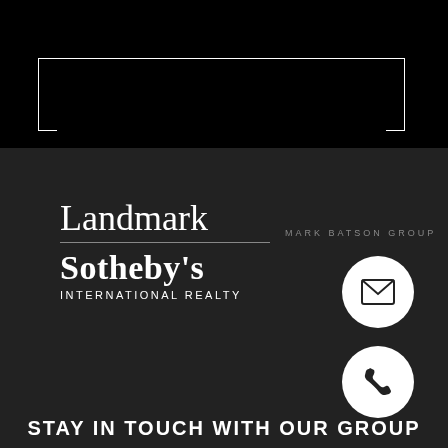[Figure (logo): Landmark Sotheby's International Realty logo with decorative bracket rectangle above on black background]
MARK BATSON GROUP
[Figure (illustration): White circle with email envelope icon]
[Figure (illustration): White circle with phone handset icon]
STAY IN TOUCH WITH OUR GROUP